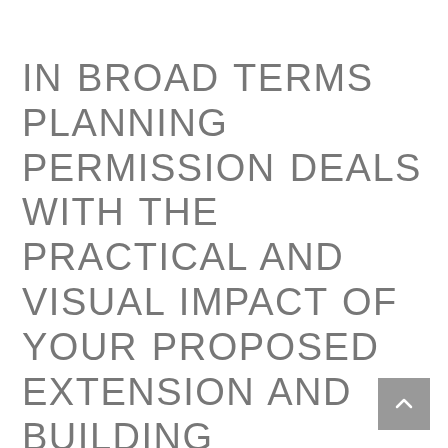IN BROAD TERMS PLANNING PERMISSION DEALS WITH THE PRACTICAL AND VISUAL IMPACT OF YOUR PROPOSED EXTENSION AND BUILDING REGULATIONS DEALS WITH THE COMPLIANCE SIDE OF YOUR EXTENSION – SO DOES YOUR EXTENSION HAVE SUITABLE DRAINAGE, IS IT STRUCTURALLY SOUND, IS THE WORK BEING CARRIED